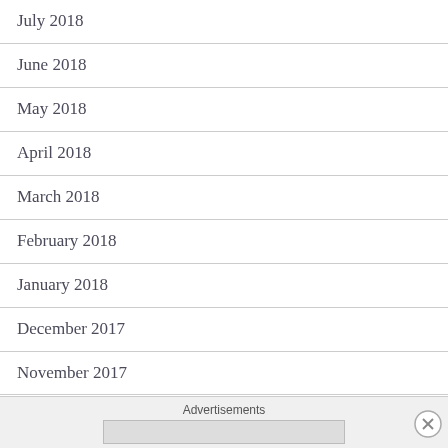July 2018
June 2018
May 2018
April 2018
March 2018
February 2018
January 2018
December 2017
November 2017
October 2017
September 2017
August 2017
Advertisements